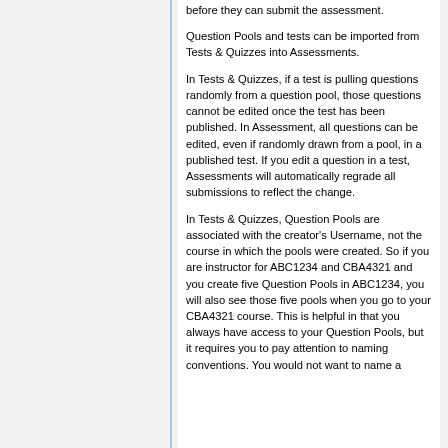before they can submit the assessment.
Question Pools and tests can be imported from Tests & Quizzes into Assessments.
In Tests & Quizzes, if a test is pulling questions randomly from a question pool, those questions cannot be edited once the test has been published. In Assessment, all questions can be edited, even if randomly drawn from a pool, in a published test. If you edit a question in a test, Assessments will automatically regrade all submissions to reflect the change.
In Tests & Quizzes, Question Pools are associated with the creator's Username, not the course in which the pools were created. So if you are instructor for ABC1234 and CBA4321 and you create five Question Pools in ABC1234, you will also see those five pools when you go to your CBA4321 course. This is helpful in that you always have access to your Question Pools, but it requires you to pay attention to naming conventions. You would not want to name a